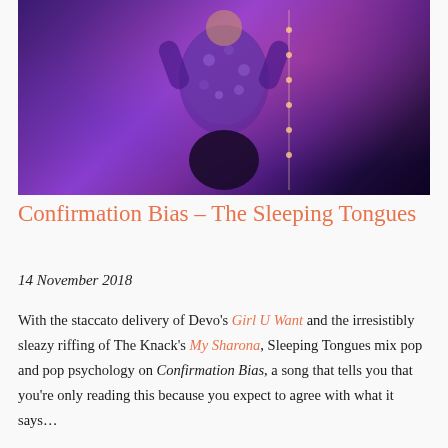[Figure (photo): A person wearing a blue floral patterned shirt photographed under purple/pink stage lighting, arms raised, with string lights visible on the right side.]
Confirmation Bias – The Sleeping Tongues
14 November 2018
With the staccato delivery of Devo's Girl U Want and the irresistibly sleazy riffing of The Knack's My Sharona, Sleeping Tongues mix pop and pop psychology on Confirmation Bias, a song that tells you that you're only reading this because you expect to agree with what it says…